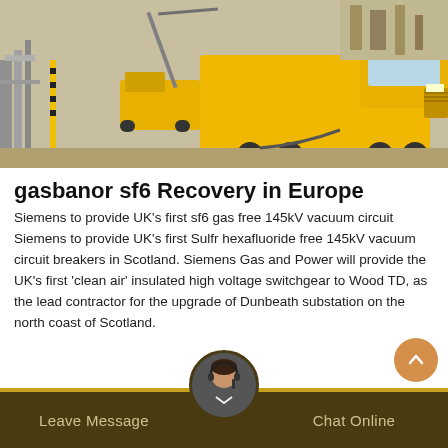[Figure (photo): Yellow Isuzu truck and utility vehicles at an industrial substation or infrastructure site with pipes, cranes, and electrical equipment]
gasbanor sf6 Recovery in Europe
Siemens to provide UK's first sf6 gas free 145kV vacuum circuit Siemens to provide UK's first Sulfr hexafluoride free 145kV vacuum circuit breakers in Scotland. Siemens Gas and Power will provide the UK's first 'clean air' insulated high voltage switchgear to Wood TD, as the lead contractor for the upgrade of Dunbeath substation on the north coast of Scotland.
Leave Message   Chat Online